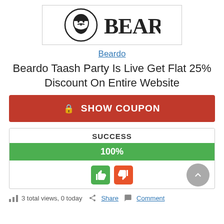[Figure (logo): Beardo brand logo: a circular emblem with a bearded man's face and the word BEARDO in bold serif font]
Beardo
Beardo Taash Party Is Live Get Flat 25% Discount On Entire Website
SHOW COUPON
| SUCCESS |
| --- |
| 100% |
3 total views, 0 today   Share   Comment